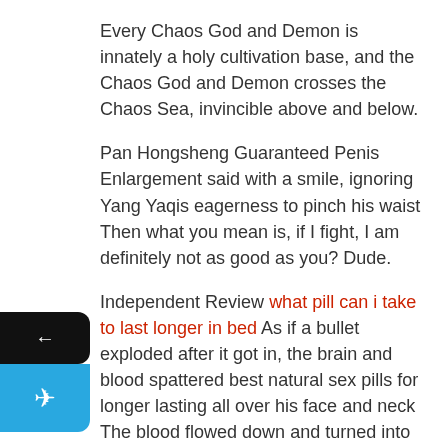Every Chaos God and Demon is innately a holy cultivation base, and the Chaos God and Demon crosses the Chaos Sea, invincible above and below.
Pan Hongsheng Guaranteed Penis Enlargement said with a smile, ignoring Yang Yaqis eagerness to pinch his waist Then what you mean is, if I fight, I am definitely not as good as you? Dude.
Independent Review what pill can i take to last longer in bed As if a bullet exploded after it got in, the brain and blood spattered best natural sex pills for longer lasting all over his face and neck The blood flowed down and turned into purpleblack.
and we can have a baby this time As soon as Ning Caier walked in, she heard an older couple chat at the door, her face flushed She has been in Zhoushui for so long hemp cbd co2 extraction machibe Naturally, she knows that Jiaen Maternity Hospital is most famous for